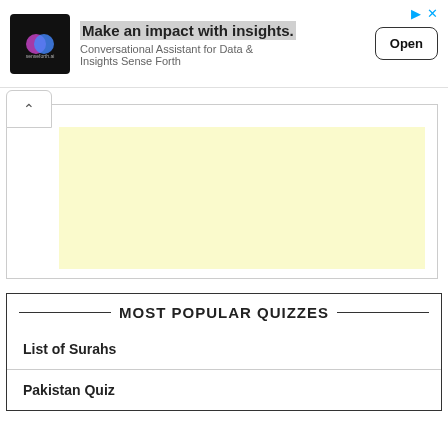[Figure (screenshot): Advertisement banner for senseforth.ai: logo on left, bold headline 'Make an impact with insights.', subtitle 'Conversational Assistant for Data & Insights Sense Forth', and an 'Open' button on the right.]
[Figure (screenshot): Collapsed panel area with a caret (up arrow) button and a light yellow rectangular placeholder box inside a bordered panel.]
MOST POPULAR QUIZZES
List of Surahs
Pakistan Quiz